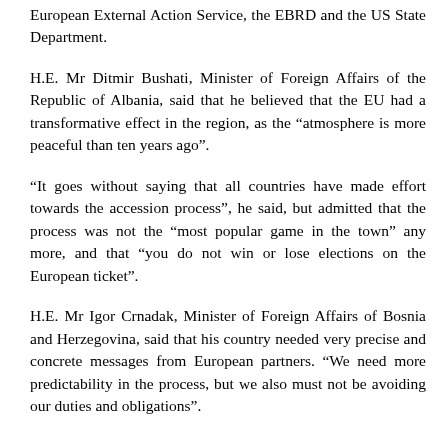European External Action Service, the EBRD and the US State Department.
H.E. Mr Ditmir Bushati, Minister of Foreign Affairs of the Republic of Albania, said that he believed that the EU had a transformative effect in the region, as the “atmosphere is more peaceful than ten years ago”.
“It goes without saying that all countries have made effort towards the accession process”, he said, but admitted that the process was not the “most popular game in the town” any more, and that “you do not win or lose elections on the European ticket”.
H.E. Mr Igor Crnadak, Minister of Foreign Affairs of Bosnia and Herzegovina, said that his country needed very precise and concrete messages from European partners. “We need more predictability in the process, but we also must not be avoiding our duties and obligations”.